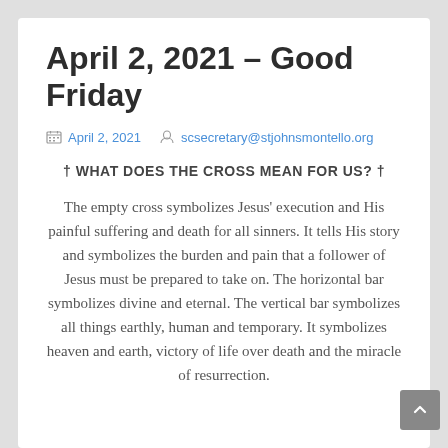April 2, 2021 – Good Friday
April 2, 2021   scsecretary@stjohnsmontello.org
† WHAT DOES THE CROSS MEAN FOR US? †
The empty cross symbolizes Jesus' execution and His painful suffering and death for all sinners. It tells His story and symbolizes the burden and pain that a follower of Jesus must be prepared to take on. The horizontal bar symbolizes divine and eternal. The vertical bar symbolizes all things earthly, human and temporary. It symbolizes heaven and earth, victory of life over death and the miracle of resurrection.